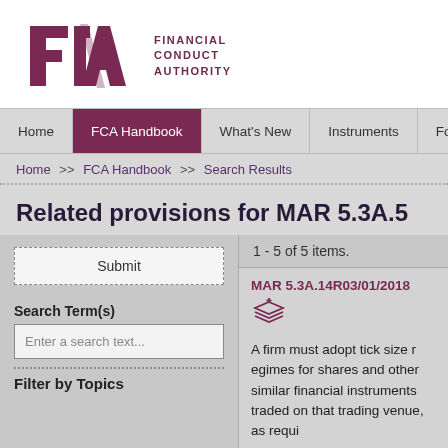[Figure (logo): FCA Financial Conduct Authority logo in dark purple/maroon]
Home | FCA Handbook | What's New | Instruments | Forms | G
Home >> FCA Handbook >> Search Results
Related provisions for MAR 5.3A.5
1 - 5 of 5 items.
Submit
Search Term(s)
Enter a search text...
Filter by Topics
MAR 5.3A.14R03/01/2018
A firm must adopt tick size regimes for shares and other similar financial instruments traded on that trading venue, as requi...